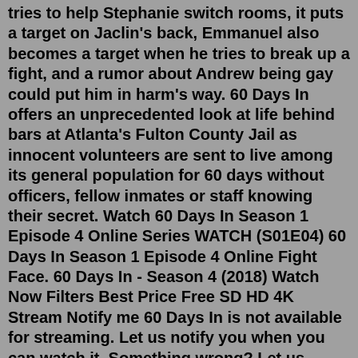tries to help Stephanie switch rooms, it puts a target on Jaclin's back, Emmanuel also becomes a target when he tries to break up a fight, and a rumor about Andrew being gay could put him in harm's way. 60 Days In offers an unprecedented look at life behind bars at Atlanta's Fulton County Jail as innocent volunteers are sent to live among its general population for 60 days without officers, fellow inmates or staff knowing their secret. Watch 60 Days In Season 1 Episode 4 Online Series WATCH (S01E04) 60 Days In Season 1 Episode 4 Online Fight Face. 60 Days In - Season 4 (2018) Watch Now Filters Best Price Free SD HD 4K Stream Notify me 60 Days In is not available for streaming. Let us notify you when you can watch it. Something wrong? Let us know. 14 Episodes S4 E1 - The Beginning of the End S4 E2 - Shank Anxiety S4 E3 - Pissed Off S4 E4 - Party Favors S4 E5 - Jail Crush S4 E6 - Blood RulesSeason 4 . Season 3 . Season 2 . Season 1 . Newest Episodes . S6 E18 - The Aftermath: Part Two.